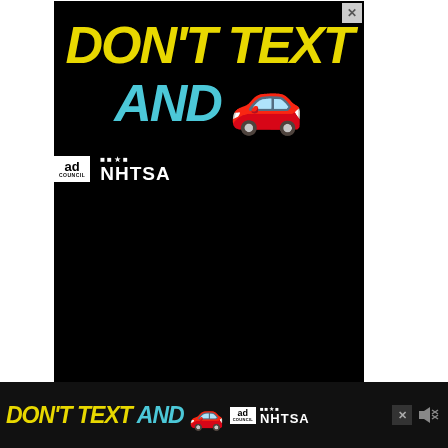[Figure (infographic): NHTSA / Ad Council public safety advertisement on black background: 'DON'T TEXT AND [car emoji]' with yellow and cyan text and red car emoji, with Ad Council and NHTSA logos at the bottom. Includes an X close button in the top right corner.]
[Figure (infographic): Heart (favorite) button — dark blue circle with white heart icon]
[Figure (infographic): Share button — light grey circle with share icon]
WHAT'S NEXT → WFH Footwear -- 5 Stylish...
Also remember to encourage your gals to ha... o. You
[Figure (infographic): Bottom sticky NHTSA/Ad Council 'DON'T TEXT AND [car emoji]' banner ad on dark/black background with close X and mute buttons]